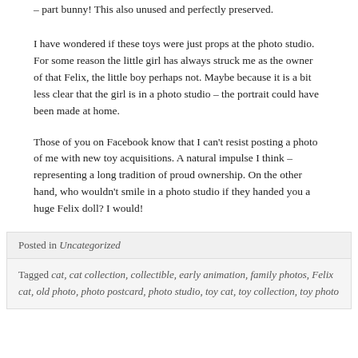– part bunny! This also unused and perfectly preserved.
I have wondered if these toys were just props at the photo studio. For some reason the little girl has always struck me as the owner of that Felix, the little boy perhaps not. Maybe because it is a bit less clear that the girl is in a photo studio – the portrait could have been made at home.
Those of you on Facebook know that I can't resist posting a photo of me with new toy acquisitions. A natural impulse I think – representing a long tradition of proud ownership. On the other hand, who wouldn't smile in a photo studio if they handed you a huge Felix doll?  I would!
Posted in Uncategorized
Tagged cat, cat collection, collectible, early animation, family photos, Felix cat, old photo, photo postcard, photo studio, toy cat, toy collection, toy photo